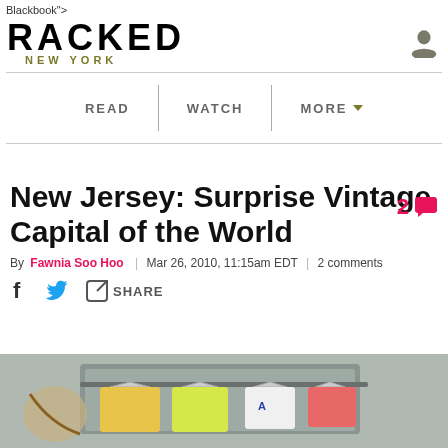Blackbook">
[Figure (logo): Racked New York logo with bold uppercase RACKED text and subtitle NEW YORK in olive/gold color, plus user icon on right]
READ | WATCH | MORE
2 comments
New Jersey: Surprise Vintage Capital of the World
By Fawnia Soo Hoo | Mar 26, 2010, 11:15am EDT | 2 comments
f [twitter] SHARE
[Figure (photo): Partial photo of vintage clothing store with clothes hanging on racks, partially visible at bottom of page]